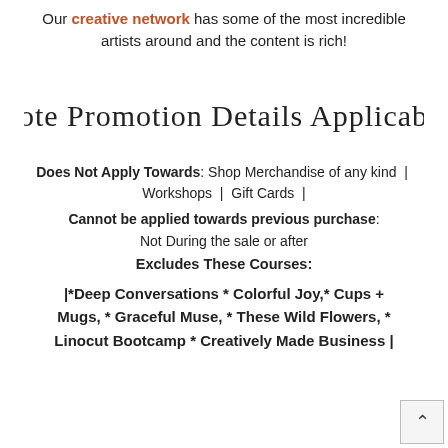Our creative network has some of the most incredible artists around and the content is rich!
[Figure (illustration): Handwritten-style cursive text reading: *Note Promotion Details Applicable*]
Does Not Apply Towards: Shop Merchandise of any kind | Workshops | Gift Cards |
Cannot be applied towards previous purchase: Not During the sale or after
Excludes These Courses:
|*Deep Conversations * Colorful Joy,* Cups + Mugs, * Graceful Muse, * These Wild Flowers, * Linocut Bootcamp * Creatively Made Business |